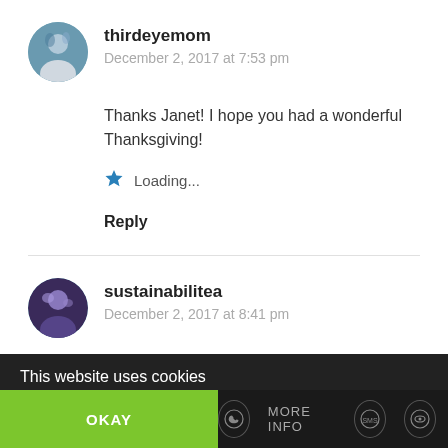thirdeyemom
December 2, 2017 at 7:53 pm
Thanks Janet! I hope you had a wonderful Thanksgiving!
Loading...
Reply
sustainabilitea
December 2, 2017 at 8:41 pm
This website uses cookies
OKAY
MORE INFO